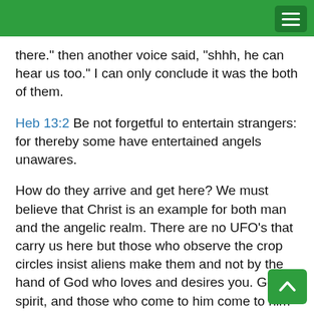there." then another voice said, "shhh, he can hear us too." I can only conclude it was the both of them.
Heb 13:2  Be not forgetful to entertain strangers: for thereby some have entertained angels unawares.
How do they arrive and get here?  We must believe that Christ is an example for both man and the angelic realm. There are no UFO's that carry us here but those who observe the crop circles insist aliens make them and not by the hand of God who loves and desires you. God is spirit, and those who come to him come to him in spirit and truth.
The first image is what the second image reveals; that is how angels get here the same way Jesus came into the wor... believe that we are at the end of the story, and we are... to learn a valuable lesson about the real value of Jesus and